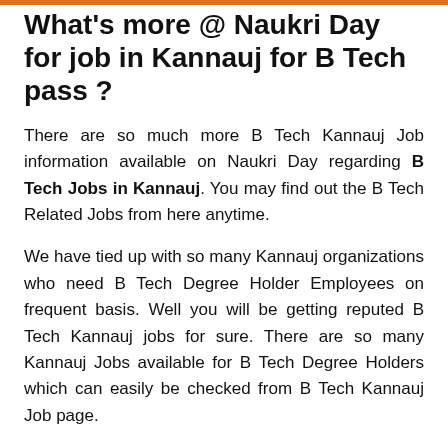What's more @ Naukri Day for job in Kannauj for B Tech pass ?
There are so much more B Tech Kannauj Job information available on Naukri Day regarding B Tech Jobs in Kannauj. You may find out the B Tech Related Jobs from here anytime.
We have tied up with so many Kannauj organizations who need B Tech Degree Holder Employees on frequent basis. Well you will be getting reputed B Tech Kannauj jobs for sure. There are so many Kannauj Jobs available for B Tech Degree Holders which can easily be checked from B Tech Kannauj Job page.